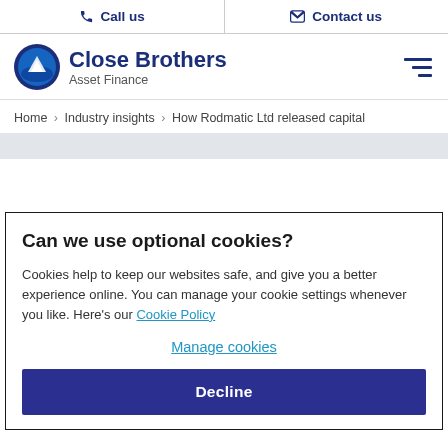Call us | Contact us
[Figure (logo): Close Brothers Asset Finance logo with circular mountain icon]
Home > Industry insights > How Rodmatic Ltd released capital
Can we use optional cookies?
Cookies help to keep our websites safe, and give you a better experience online. You can manage your cookie settings whenever you like. Here's our Cookie Policy
Manage cookies
Decline